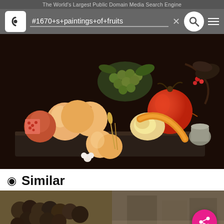The World's Largest Public Domain Media Search Engine
[Figure (screenshot): Browser navigation bar with Pixabay logo, search field containing '#1670+s+paintings+of+fruits', a close (x) button, a search (magnifying glass) button, and a hamburger menu icon on a dark grey background]
[Figure (photo): A dark 17th-century Dutch still life oil painting of various fruits including peaches, grapes, pomegranate, and oranges arranged on a dark background with autumn leaves]
Similar
[Figure (photo): Thumbnail of a painting with muted brown tones showing clustered dark shapes, possibly grapes or berries]
[Figure (photo): Thumbnail of a painting with grayish-brown tones showing a blurred still life scene]